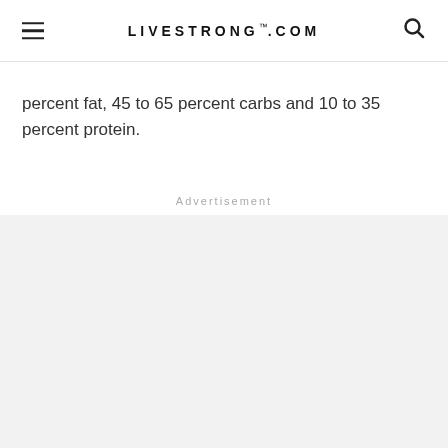LIVESTRONG.COM
percent fat, 45 to 65 percent carbs and 10 to 35 percent protein.
Advertisement